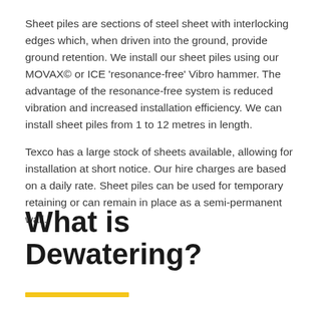Sheet piles are sections of steel sheet with interlocking edges which, when driven into the ground, provide ground retention. We install our sheet piles using our MOVAX© or ICE 'resonance-free' Vibro hammer. The advantage of the resonance-free system is reduced vibration and increased installation efficiency. We can install sheet piles from 1 to 12 metres in length.
Texco has a large stock of sheets available, allowing for installation at short notice. Our hire charges are based on a daily rate. Sheet piles can be used for temporary retaining or can remain in place as a semi-permanent wall.
What is Dewatering?